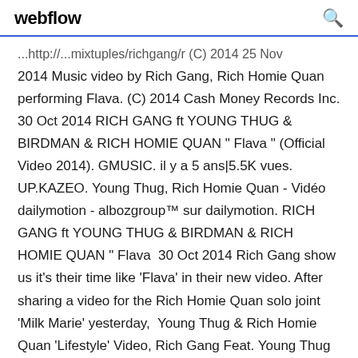webflow
...http://...mixtuples/richgang/r (C) 2014 25 Nov 2014 Music video by Rich Gang, Rich Homie Quan performing Flava. (C) 2014 Cash Money Records Inc. 30 Oct 2014 RICH GANG ft YOUNG THUG & BIRDMAN & RICH HOMIE QUAN " Flava " (Official Video 2014). GMUSIC. il y a 5 ans|5.5K vues. UP.KAZEO. Young Thug, Rich Homie Quan - Vidéo dailymotion - albozgroup™ sur dailymotion. RICH GANG ft YOUNG THUG & BIRDMAN & RICH HOMIE QUAN " Flava  30 Oct 2014 Rich Gang show us it's their time like 'Flava' in their new video. After sharing a video for the Rich Homie Quan solo joint 'Milk Marie' yesterday,  Young Thug & Rich Homie Quan 'Lifestyle' Video, Rich Gang Feat. Young Thug